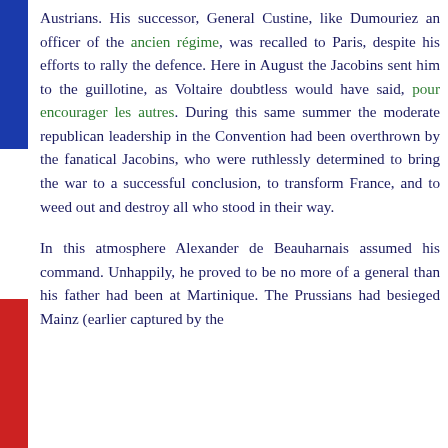Austrians. His successor, General Custine, like Dumouriez an officer of the ancien régime, was recalled to Paris, despite his efforts to rally the defence. Here in August the Jacobins sent him to the guillotine, as Voltaire doubtless would have said, pour encourager les autres. During this same summer the moderate republican leadership in the Convention had been overthrown by the fanatical Jacobins, who were ruthlessly determined to bring the war to a successful conclusion, to transform France, and to weed out and destroy all who stood in their way.
In this atmosphere Alexander de Beauharnais assumed his command. Unhappily, he proved to be no more of a general than his father had been at Martinique. The Prussians had besieged Mainz (earlier captured by the